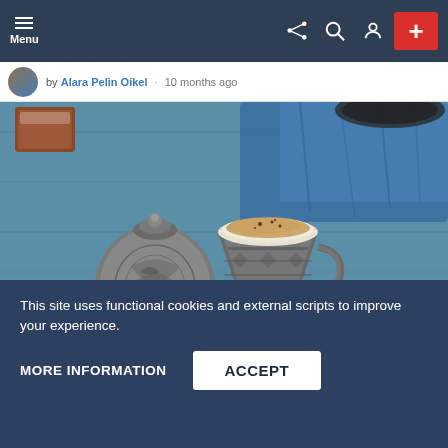Menu
by Alara Pelin Oikel · 10 months ago
[Figure (photo): Turkish coffee served in an ornate silver cup and saucer with coffee beans and star anise on a blue wooden surface, with a silver coffee pot beside it and a blue cloth in the background.]
This site uses functional cookies and external scripts to improve your experience.
MORE INFORMATION
ACCEPT